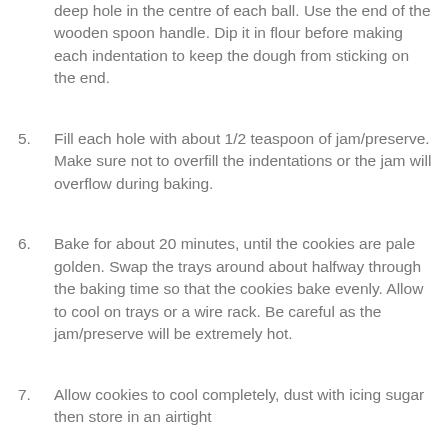deep hole in the centre of each ball. Use the end of the wooden spoon handle. Dip it in flour before making each indentation to keep the dough from sticking on the end.
5. Fill each hole with about 1/2 teaspoon of jam/preserve. Make sure not to overfill the indentations or the jam will overflow during baking.
6. Bake for about 20 minutes, until the cookies are pale golden. Swap the trays around about halfway through the baking time so that the cookies bake evenly. Allow to cool on trays or a wire rack. Be careful as the jam/preserve will be extremely hot.
7. Allow cookies to cool completely, dust with icing sugar then store in an airtight